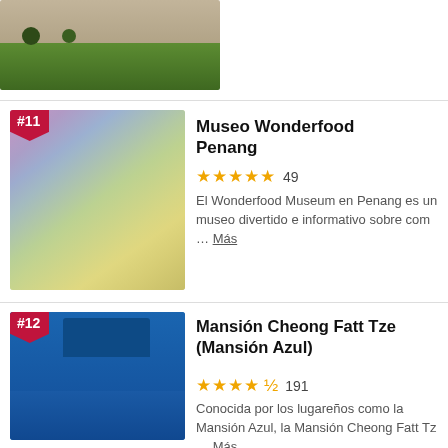[Figure (photo): Partial view of a green garden with stone wall in the background]
[Figure (photo): Wonderfood Museum Penang - ranked #11, person posing with giant bread/food display against colorful background]
Museo Wonderfood Penang
★★★★★ 49
El Wonderfood Museum en Penang es un museo divertido e informativo sobre com … Más
[Figure (photo): Mansión Cheong Fatt Tze (Blue Mansion) - ranked #12, blue colonial building with rickshaw in front]
Mansión Cheong Fatt Tze (Mansión Azul)
★★★★½ 191
Conocida por los lugareños como la Mansión Azul, la Mansión Cheong Fatt Tz … Más